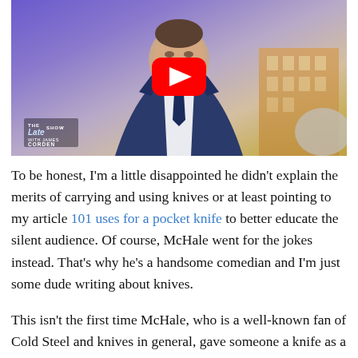[Figure (screenshot): A YouTube video thumbnail showing a man in a dark suit and navy tie appearing on The Late Late Show with James Corden. A large red YouTube play button is centered on the image. The show's logo is visible in the lower left corner.]
To be honest, I'm a little disappointed he didn't explain the merits of carrying and using knives or at least pointing to my article 101 uses for a pocket knife to better educate the silent audience. Of course, McHale went for the jokes instead. That's why he's a handsome comedian and I'm just some dude writing about knives.
This isn't the first time McHale, who is a well-known fan of Cold Steel and knives in general, gave someone a knife as a gift. Apparently he gave writer-director Scott